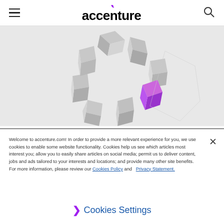accenture
[Figure (illustration): 3D rendered ring/circle of grey geometric cube/block shapes with one purple/magenta colored block, forming a circular puzzle-like arrangement on a light grey background]
Welcome to accenture.com! In order to provide a more relevant experience for you, we use cookies to enable some website functionality. Cookies help us see which articles most interest you; allow you to easily share articles on social media; permit us to deliver content, jobs and ads tailored to your interests and locations; and provide many other site benefits. For more information, please review our Cookies Policy and Privacy Statement.
❯ Cookies Settings